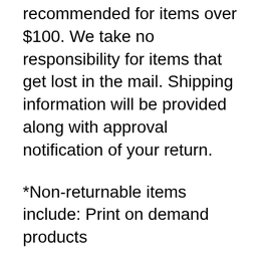recommended for items over $100. We take no responsibility for items that get lost in the mail. Shipping information will be provided along with approval notification of your return.
*Non-returnable items include: Print on demand products
Refunds
Once your item is received and inspected, you will be...